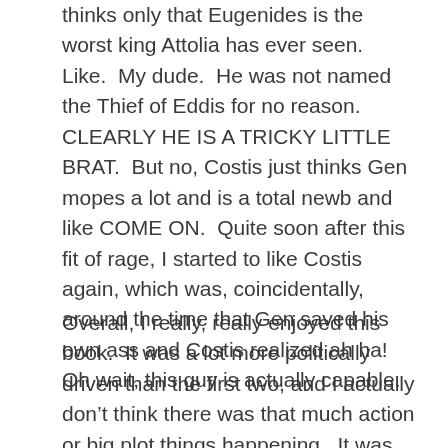thinks only that Eugenides is the worst king Attolia has ever seen.  Like.  My dude.  He was not named the Thief of Eddis for no reason.  CLEARLY HE IS A TRICKY LITTLE BRAT.  But no, Costis just thinks Gen mopes a lot and is a total newb and like COME ON.  Quite soon after this fit of rage, I started to like Costis again, which was, coincidentally, around the time that Gen saved his own ass and Costis realized ah ha!  Oh wait, this guy is actually capable.
Overall, I really, really enjoyed this book.  It was a lot more politically driven than the first two, and I actually don't think there was that much action or big plot things happening.  It was mostly just moving pawns around and getting different high-ranking individuals into the right places.  It should have been slow or boring, but maybe it was that I